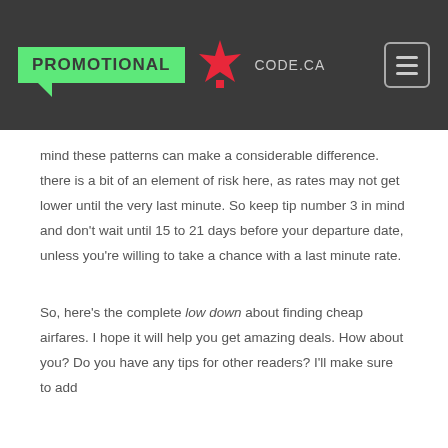PROMOTIONAL CODE.CA
mind these patterns can make a considerable difference. there is a bit of an element of risk here, as rates may not get lower until the very last minute. So keep tip number 3 in mind and don't wait until 15 to 21 days before your departure date, unless you're willing to take a chance with a last minute rate.

So, here's the complete low down about finding cheap airfares. I hope it will help you get amazing deals. How about you? Do you have any tips for other readers? I'll make sure to add